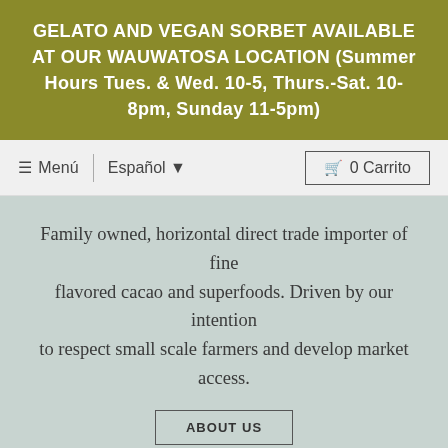GELATO AND VEGAN SORBET AVAILABLE AT OUR WAUWATOSA LOCATION (Summer Hours Tues. & Wed. 10-5, Thurs.-Sat. 10-8pm, Sunday 11-5pm)
≡ Menú  |  Español ▾  🛒 0 Carrito
Family owned, horizontal direct trade importer of fine flavored cacao and superfoods. Driven by our intention to respect small scale farmers and develop market access.
ABOUT US
SINGLE ORIGIN CHOCOLATE BARS